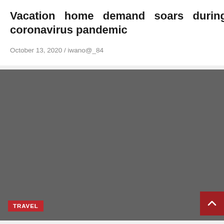Vacation home demand soars during coronavirus pandemic
October 13, 2020 / iwano@_84
[Figure (photo): Dark gray placeholder image with a TRAVEL badge label in the bottom left and a scroll-to-top arrow button in the bottom right]
Delta posts $5.38 billion 3Q loss as pandemic hammers travel